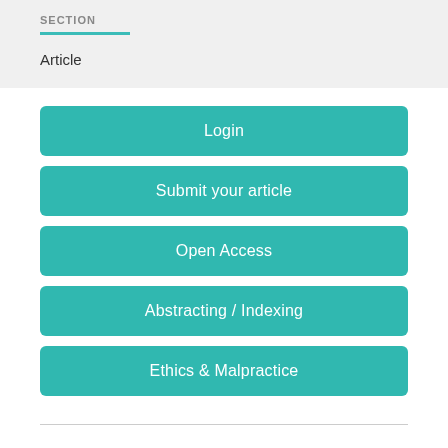SECTION
Article
Login
Submit your article
Open Access
Abstracting / Indexing
Ethics & Malpractice